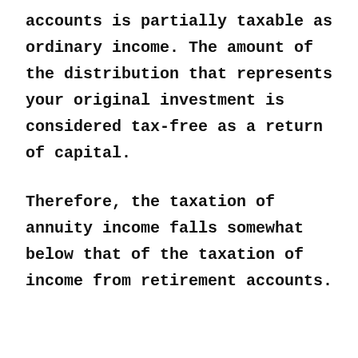accounts is partially taxable as ordinary income. The amount of the distribution that represents your original investment is considered tax-free as a return of capital.
Therefore, the taxation of annuity income falls somewhat below that of the taxation of income from retirement accounts.